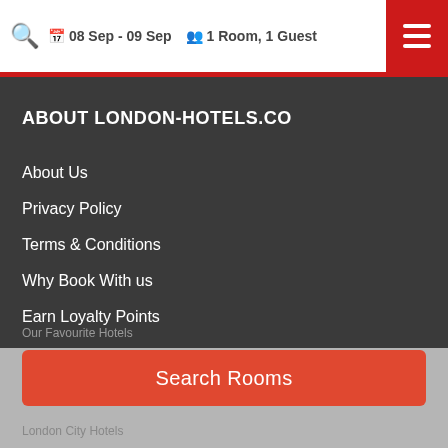08 Sep - 09 Sep  1 Room, 1 Guest
ABOUT LONDON-HOTELS.CO
About Us
Privacy Policy
Terms & Conditions
Why Book With us
Earn Loyalty Points
EXPLORE LONDON-HOTELS.CO
Search Rooms